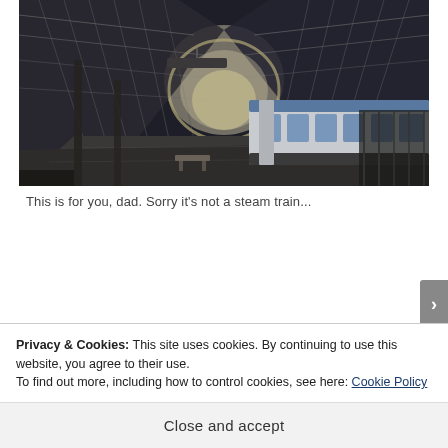[Figure (photo): Black and white photograph of a train station interior with a large glass and iron arched roof. A modern passenger train sits at the platform on the right side. The wide platform is largely empty with benches visible in the middle distance. There is a large arched doorway in the background letting in light.]
This is for you, dad. Sorry it's not a steam train...
Privacy & Cookies: This site uses cookies. By continuing to use this website, you agree to their use.
To find out more, including how to control cookies, see here: Cookie Policy
Close and accept